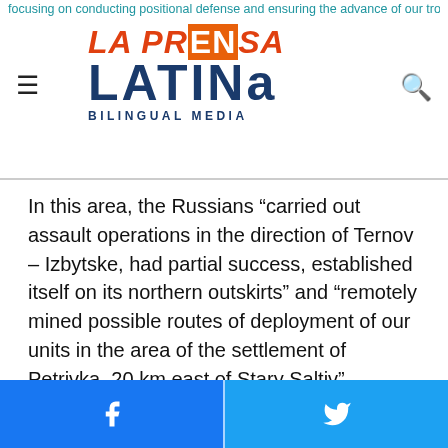La Prensa Latina Bilingual Media — navigation header
In this area, the Russians “carried out assault operations in the direction of Ternov – Izbytske, had partial success, established itself on its northern outskirts” and “remotely mined possible routes of deployment of our units in the area of the settlement of Petrivka, 20 km east of Stary Saltiv” according to the report.
In the direction of Slovyansk, another of Moscow’s objectives in the Donetsk region, the Russians “focused their efforts on storming the settlements of Dolyna and Bohorodychne, but were unsuccessful. The enemy, as part of the logistics of troops, replaced more than 100 units of damaged armored vehicles,” the General Staff said.
Facebook share | Twitter share